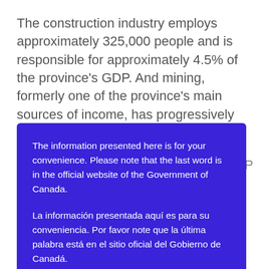The construction industry employs approximately 325,000 people and is responsible for approximately 4.5% of the province's GDP. And mining, formerly one of the province's main sources of income, has progressively declined with the diversification of Ontario's economy and with the increasing modernization in this area in recent decades.
The information presented here is for your convenience. Please note that the last word is in the official website of the Government of Canada.

La información presentada aquí es para su conveniencia. Por favor note que la última palabra está en el sitio oficial del Gobierno de Canadá.
employ 550,000 people and are responsible for 22% of Ontario's GDP. Toronto is the financial capital...